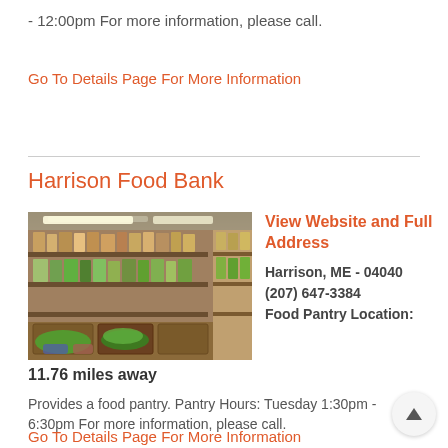- 12:00pm For more information, please call.
Go To Details Page For More Information
Harrison Food Bank
[Figure (photo): Interior of a food bank showing shelves stocked with various food items including fresh produce and packaged goods on wooden display shelves]
View Website and Full Address
Harrison, ME - 04040
(207) 647-3384
Food Pantry Location:
11.76 miles away
Provides a food pantry. Pantry Hours: Tuesday 1:30pm - 6:30pm For more information, please call.
Go To Details Page For More Information